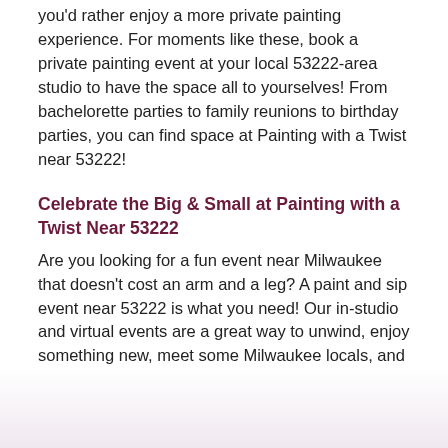you'd rather enjoy a more private painting experience. For moments like these, book a private painting event at your local 53222-area studio to have the space all to yourselves! From bachelorette parties to family reunions to birthday parties, you can find space at Painting with a Twist near 53222!
Celebrate the Big & Small at Painting with a Twist Near 53222
Are you looking for a fun event near Milwaukee that doesn't cost an arm and a leg? A paint and sip event near 53222 is what you need! Our in-studio and virtual events are a great way to unwind, enjoy something new, meet some Milwaukee locals, and even learn something, all while enjoying a glass of your favorite beverage! Join a 53222-area Painting with a Twist event, and get ready for the Milwaukee outing you've been looking for.